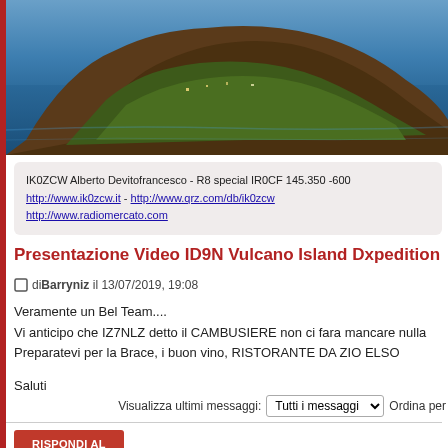[Figure (photo): Aerial photo of a rocky island (Vulcano Island) surrounded by blue sea with mountains and habitation visible]
IK0ZCW Alberto Devitofrancesco - R8 special IR0CF 145.350 -600
http://www.ik0zcw.it - http://www.qrz.com/db/ik0zcw
http://www.radiomercato.com
Presentazione Video ID9N Vulcano Island Dxpedition
di Barryniz il 13/07/2019, 19:08
Veramente un Bel Team....
Vi anticipo che IZ7NLZ detto il CAMBUSIERE non ci fara mancare nulla
Preparatevi per la Brace, i buon vino, RISTORANTE DA ZIO ELSO
Saluti
Visualizza ultimi messaggi: Tutti i messaggi  Ordina per
RISPONDI AL MESSAGGIO
Torno e Attività HF, DX e contest